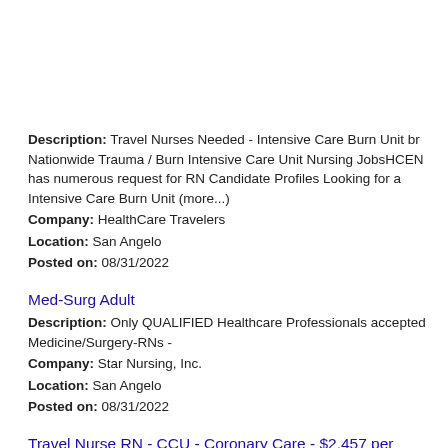Description: Travel Nurses Needed - Intensive Care Burn Unit br Nationwide Trauma / Burn Intensive Care Unit Nursing JobsHCEN has numerous request for RN Candidate Profiles Looking for a Intensive Care Burn Unit (more...)
Company: HealthCare Travelers
Location: San Angelo
Posted on: 08/31/2022
Med-Surg Adult
Description: Only QUALIFIED Healthcare Professionals accepted Medicine/Surgery-RNs -
Company: Star Nursing, Inc.
Location: San Angelo
Posted on: 08/31/2022
Travel Nurse RN - CCU - Coronary Care - $2,457 per week
Description: CareStaff Partners is seeking a travel nurse RN CCU - Coronary Care for a travel nursing job in San Angelo, Texas. Job